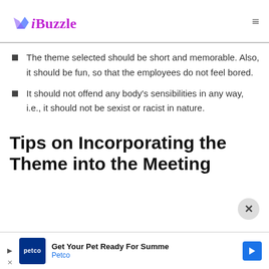iBuzzle
The theme selected should be short and memorable. Also, it should be fun, so that the employees do not feel bored.
It should not offend any body's sensibilities in any way, i.e., it should not be sexist or racist in nature.
Tips on Incorporating the Theme into the Meeting
Get Your Pet Ready For Summe Petco